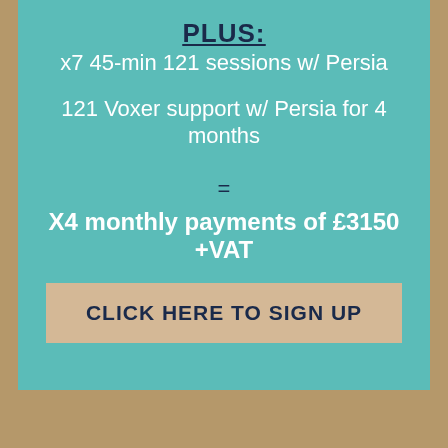PLUS:
x7 45-min 121 sessions w/ Persia
121 Voxer support w/ Persia for 4 months
=
X4 monthly payments of £3150 +VAT
CLICK HERE TO SIGN UP